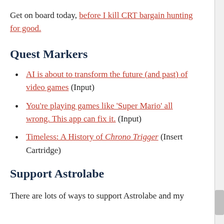Get on board today, before I kill CRT bargain hunting for good.
Quest Markers
AI is about to transform the future (and past) of video games (Input)
You're playing games like 'Super Mario' all wrong. This app can fix it. (Input)
Timeless: A History of Chrono Trigger (Insert Cartridge)
Support Astrolabe
There are lots of ways to support Astrolabe and my